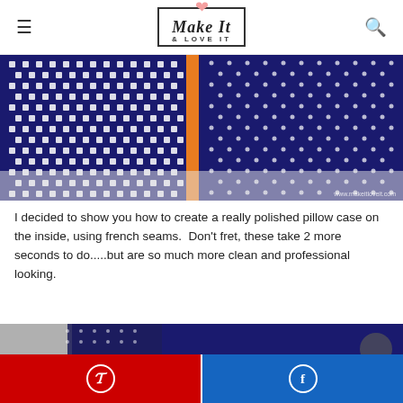Make It & LOVE IT
[Figure (photo): Close-up of a pillow case showing houndstooth fabric on the left and navy polka dot fabric on the right, joined by an orange seam, on a white surface. Watermark reads www.makeitloveit.com]
I decided to show you how to create a really polished pillow case on the inside, using french seams.  Don't fret, these take 2 more seconds to do.....but are so much more clean and professional looking.
[Figure (photo): Close-up of fabric pieces being sewn together, showing houndstooth and navy polka dot fabrics with visible seam.]
[Figure (infographic): Social share bar with Pinterest (red background) and Facebook (blue background) buttons at the bottom of the page.]